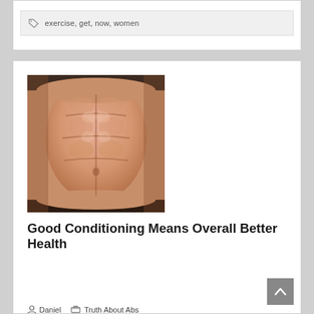exercise, get, now, women
[Figure (photo): Close-up photo of a muscular male abdomen showing defined six-pack abs]
Good Conditioning Means Overall Better Health
Daniel   Truth About Abs